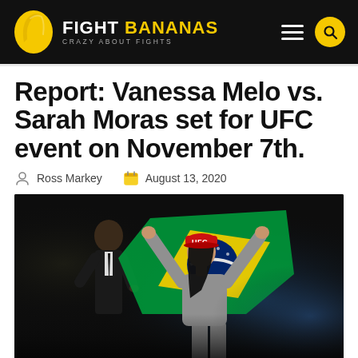FIGHT BANANAS — CRAZY ABOUT FIGHTS
Report: Vanessa Melo vs. Sarah Moras set for UFC event on November 7th.
Ross Markey   August 13, 2020
[Figure (photo): Female UFC fighter holding up a Brazilian flag on stage with arms raised, wearing a red UFC cap and grey tracksuit, dark stage background with blue lighting]